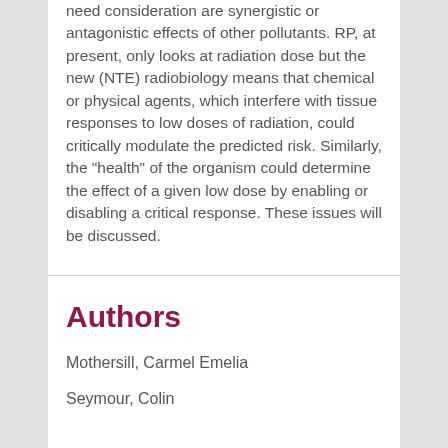need consideration are synergistic or antagonistic effects of other pollutants. RP, at present, only looks at radiation dose but the new (NTE) radiobiology means that chemical or physical agents, which interfere with tissue responses to low doses of radiation, could critically modulate the predicted risk. Similarly, the "health" of the organism could determine the effect of a given low dose by enabling or disabling a critical response. These issues will be discussed.
Authors
Mothersill, Carmel Emelia
Seymour, Colin